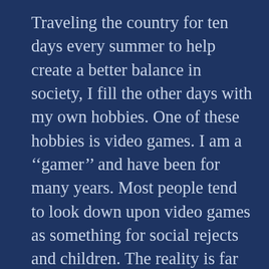Traveling the country for ten days every summer to help create a better balance in society, I fill the other days with my own hobbies. One of these hobbies is video games. I am a ''gamer'' and have been for many years. Most people tend to look down upon video games as something for social rejects and children. The reality is far from what most people think. The Video Gamers I associate with are a community of thinkers, and intellectuals. The mechanics of video games and other interactive media are so complex that most people don't have the capability to understand. There are unbelievable feats of computer engineering that take place in video games. Like literature, they have the capability to open people's imaginations; to let their minds roam where they thought was not possible. I have not